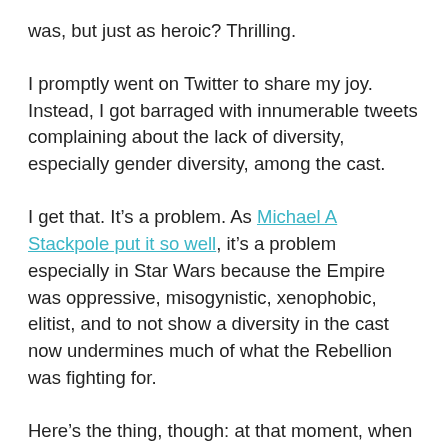was, but just as heroic? Thrilling.
I promptly went on Twitter to share my joy. Instead, I got barraged with innumerable tweets complaining about the lack of diversity, especially gender diversity, among the cast.
I get that. It’s a problem. As Michael A Stackpole put it so well, it’s a problem especially in Star Wars because the Empire was oppressive, misogynistic, xenophobic, elitist, and to not show a diversity in the cast now undermines much of what the Rebellion was fighting for.
Here’s the thing, though: at that moment, when I was nearly turning cartwheels over the thought of Princess Leia being back on the screen, I did not need to be overwhelmed with negativity. (Never mind the fact that I would be happier with ONE character with the depth of Leia than a dozen stereotyped “strong sexy women” on screen—I find these